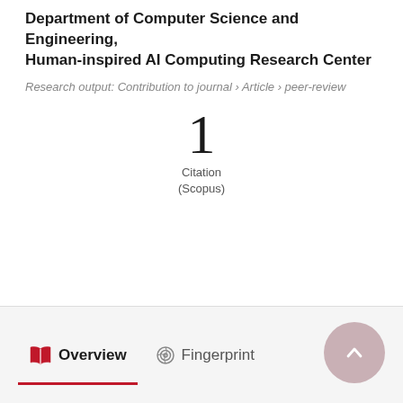Department of Computer Science and Engineering, Human-inspired AI Computing Research Center
Research output: Contribution to journal › Article › peer-review
1
Citation
(Scopus)
Overview   Fingerprint